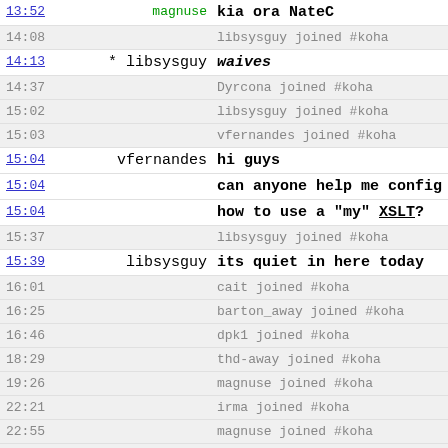| Time | Nick | Message |
| --- | --- | --- |
| 13:52 | magnuse | kia ora NateC |
| 14:08 |  | libsysguy joined #koha |
| 14:13 | * libsysguy | waives |
| 14:37 |  | Dyrcona joined #koha |
| 15:02 |  | libsysguy joined #koha |
| 15:03 |  | vfernandes joined #koha |
| 15:04 | vfernandes | hi guys |
| 15:04 |  | can anyone help me config |
| 15:04 |  | how to use a "my" XSLT? |
| 15:37 |  | libsysguy joined #koha |
| 15:39 | libsysguy | its quiet in here today |
| 16:01 |  | cait joined #koha |
| 16:25 |  | barton_away joined #koha |
| 16:46 |  | dpk1 joined #koha |
| 18:29 |  | thd-away joined #koha |
| 19:26 |  | magnuse joined #koha |
| 22:21 |  | irma joined #koha |
| 22:55 |  | magnuse joined #koha |
| 22:16 |  | magnuse joined #koha |